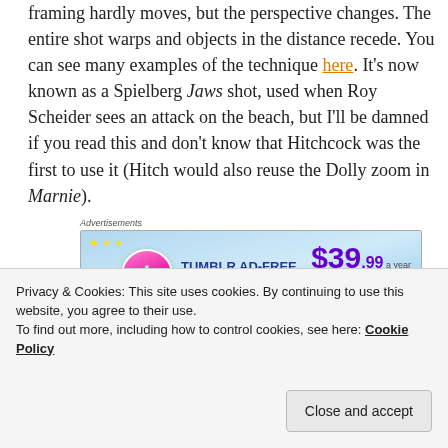framing hardly moves, but the perspective changes. The entire shot warps and objects in the distance recede. You can see many examples of the technique here. It’s now known as a Spielberg Jaws shot, used when Roy Scheider sees an attack on the beach, but I’ll be damned if you read this and don’t know that Hitchcock was the first to use it (Hitch would also reuse the Dolly zoom in Marnie).
[Figure (other): Tumblr Ad-Free Browsing advertisement banner. $39.99 a year or $4.99 a month.]
Now look at the incredible color scheme and
Privacy & Cookies: This site uses cookies. By continuing to use this website, you agree to their use.
To find out more, including how to control cookies, see here: Cookie Policy
Close and accept